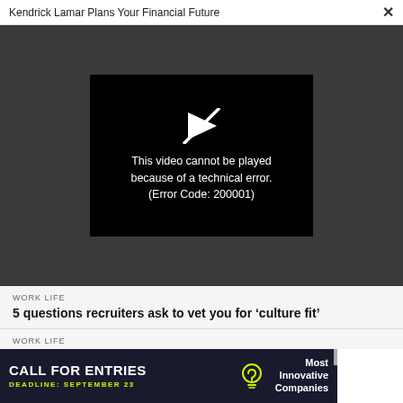Kendrick Lamar Plans Your Financial Future  ×
[Figure (screenshot): Video player showing error message: 'This video cannot be played because of a technical error. (Error Code: 200001)' on a black background with a broken play icon, set against a dark gray video area background.]
WORK LIFE
5 questions recruiters ask to vet you for 'culture fit'
WORK LIFE
How to recover from burnout if you can't change jobs or take time off
[Figure (infographic): Advertisement banner: 'CALL FOR ENTRIES  DEADLINE: SEPTEMBER 23  Most Innovative Companies' with a lightbulb icon, dark navy background with yellow accent text.]